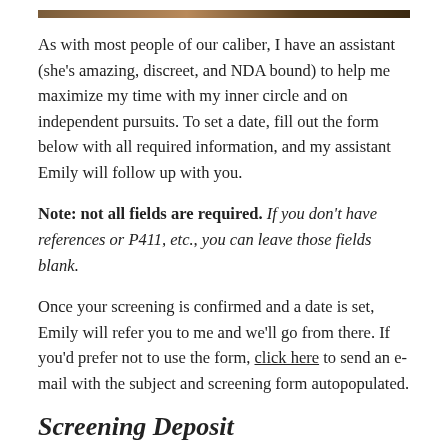[Figure (photo): Horizontal image strip at the top of the page]
As with most people of our caliber, I have an assistant (she's amazing, discreet, and NDA bound) to help me maximize my time with my inner circle and on independent pursuits. To set a date, fill out the form below with all required information, and my assistant Emily will follow up with you.
Note: not all fields are required. If you don't have references or P411, etc., you can leave those fields blank.
Once your screening is confirmed and a date is set, Emily will refer you to me and we'll go from there. If you'd prefer not to use the form, click here to send an e-mail with the subject and screening form autopopulated.
Screening Deposit